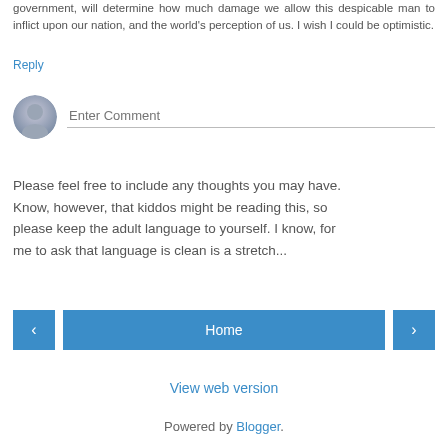government, will determine how much damage we allow this despicable man to inflict upon our nation, and the world's perception of us. I wish I could be optimistic.
Reply
[Figure (illustration): User avatar placeholder icon (gray circle with silhouette) next to an Enter Comment input field with bottom border]
Please feel free to include any thoughts you may have. Know, however, that kiddos might be reading this, so please keep the adult language to yourself. I know, for me to ask that language is clean is a stretch...
[Figure (other): Navigation bar with left arrow button, Home button, and right arrow button]
View web version
Powered by Blogger.